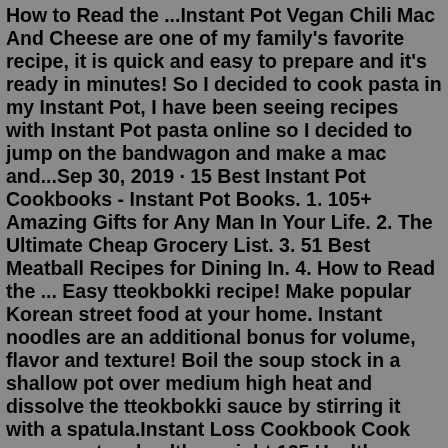How to Read the ...Instant Pot Vegan Chili Mac And Cheese are one of my family's favorite recipe, it is quick and easy to prepare and it's ready in minutes! So I decided to cook pasta in my Instant Pot, I have been seeing recipes with Instant Pot pasta online so I decided to jump on the bandwagon and make a mac and...Sep 30, 2019 · 15 Best Instant Pot Cookbooks - Instant Pot Books. 1. 105+ Amazing Gifts for Any Man In Your Life. 2. The Ultimate Cheap Grocery List. 3. 51 Best Meatball Recipes for Dining In. 4. How to Read the ... Easy tteokbokki recipe! Make popular Korean street food at your home. Instant noodles are an additional bonus for volume, flavor and texture! Boil the soup stock in a shallow pot over medium high heat and dissolve the tteokbokki sauce by stirring it with a spatula.Instant Loss Cookbook Cook your way to a healthy weight 125 Healthy, Family Friendly Recipes! Click on one of the retailers below to order your copy today! About the Book From the utterly charming blogger who lost over 125 lbs in a year by making all her meals in her Instant